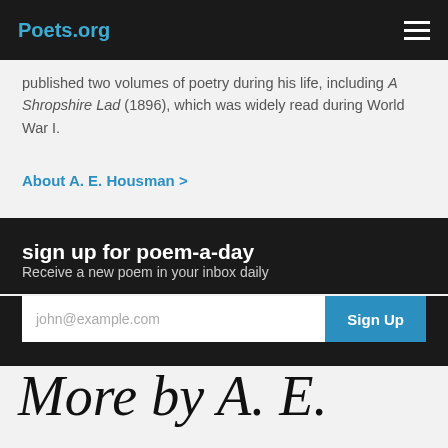Poets.org
published two volumes of poetry during his life, including A Shropshire Lad (1896), which was widely read during World War I.
About A. E. Housman >
sign up for poem-a-day
Receive a new poem in your inbox daily
john@example.com
More by A. E.